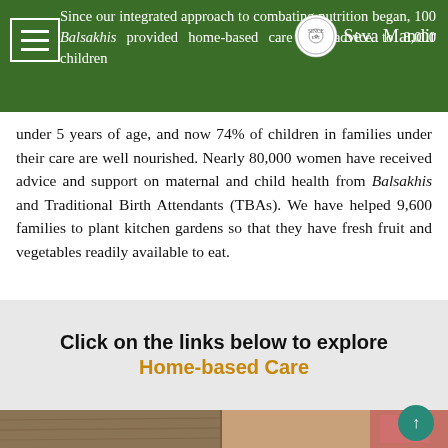Since our integrated approach to combating nutrition began, 100 Balsakhis provided home-based care and advice to 8,000 children
under 5 years of age, and now 74% of children in families under their care are well nourished. Nearly 80,000 women have received advice and support on maternal and child health from Balsakhis and Traditional Birth Attendants (TBAs). We have helped 9,600 families to plant kitchen gardens so that they have fresh fruit and vegetables readily available to eat.
Click on the links below to explore
Home-based Care